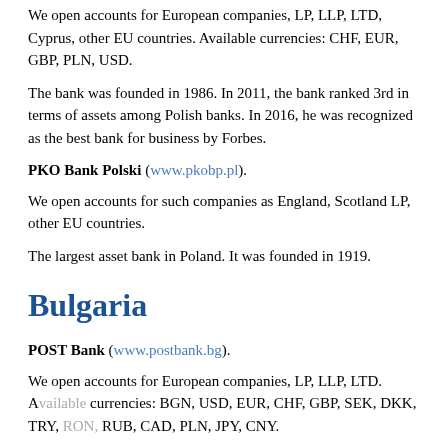We open accounts for European companies, LP, LLP, LTD, Cyprus, other EU countries. Available currencies: CHF, EUR, GBP, PLN, USD.
The bank was founded in 1986. In 2011, the bank ranked 3rd in terms of assets among Polish banks. In 2016, he was recognized as the best bank for business by Forbes.
PKO Bank Polski (www.pkobp.pl).
We open accounts for such companies as England, Scotland LP, other EU countries.
The largest asset bank in Poland. It was founded in 1919.
Bulgaria
POST Bank (www.postbank.bg).
We open accounts for European companies, LP, LLP, LTD. Available currencies: BGN, USD, EUR, CHF, GBP, SEK, DKK, TRY, RON, RUB, CAD, PLN, JPY, CNY.